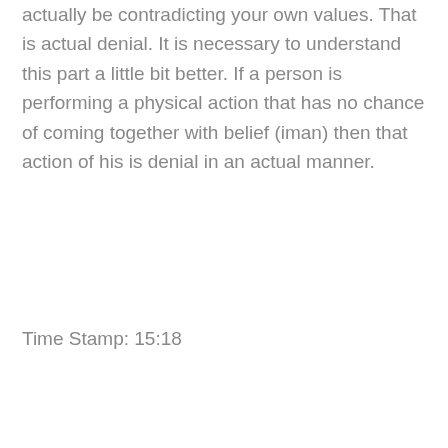actually be contradicting your own values. That is actual denial. It is necessary to understand this part a little bit better. If a person is performing a physical action that has no chance of coming together with belief (iman) then that action of his is denial in an actual manner.
Time Stamp: 15:18